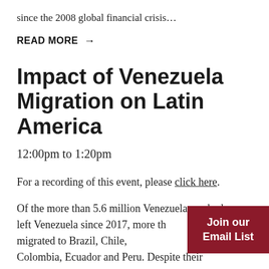since the 2008 global financial crisis…
READ MORE →
Impact of Venezuela Migration on Latin America
12:00pm to 1:20pm
For a recording of this event, please click here.
Of the more than 5.6 million Venezuelans who have left Venezuela since 2017, more than 80 percent have migrated to Brazil, Chile, Colombia, Ecuador and Peru. Despite their
Join our Email List